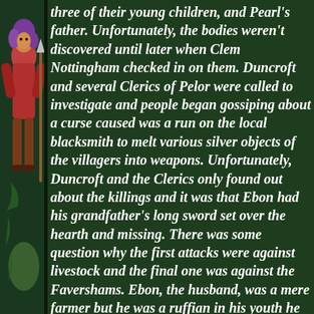[Figure (illustration): Illustrated fantasy/decorative figure on the left margin — a colorful character with purple hair and red/orange clothing against a dark green background]
three of their young children, and Pearl's father. Unfortunately, the bodies weren't discovered until later when Clem Nottingham checked in on them. Duncroft and several Clerics of Pelor were called to investigate and people began gossiping about a curse caused was a run on the local blacksmith to melt various silver objects of the villagers into weapons. Unfortunately, Duncroft and the Clerics only found out about the killings and it was that Ebon had his grandfather's long sword set over the hearth and missing. There was some question why the first attacks were against livestock and the final one was against the Favershams. Ebon, the husband, was a mere farmer but he was a ruffian in his youth he had settled down with his wife Pearl and their children. Emmet Cress, Pearl's father, was respected and well-liked and had sold his store to his apprentice Gloria Wulling around a year ago.
It's now two nights until the next full moon and...